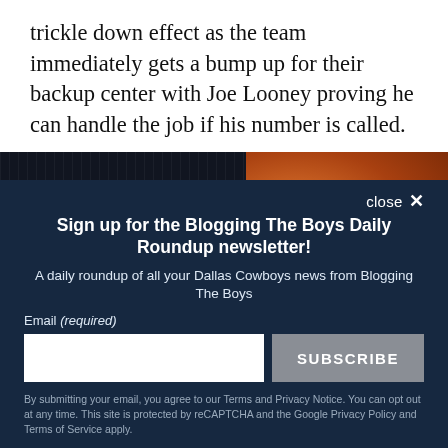trickle down effect as the team immediately gets a bump up for their backup center with Joe Looney proving he can handle the job if his number is called.
[Figure (photo): Advertisement banner for 'Early Win' with dark background and stripe pattern on left, orange textured surface on right]
close ×
Sign up for the Blogging The Boys Daily Roundup newsletter!
A daily roundup of all your Dallas Cowboys news from Blogging The Boys
Email (required)
SUBSCRIBE
By submitting your email, you agree to our Terms and Privacy Notice. You can opt out at any time. This site is protected by reCAPTCHA and the Google Privacy Policy and Terms of Service apply.